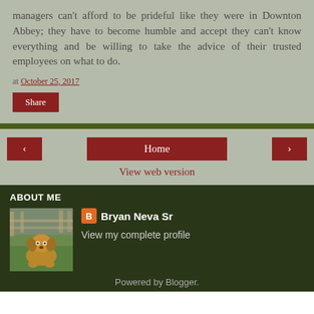managers can't afford to be prideful like they were in Downton Abbey; they have to become humble and accept they can't know everything and be willing to take the advice of their trusted employees on what to do.
at October 25, 2017
Share
< Home >
View web version
ABOUT ME
Bryan Neva Sr
View my complete profile
[Figure (photo): Photo of a dog (small brown dog) on grass with a fence in background]
Powered by Blogger.